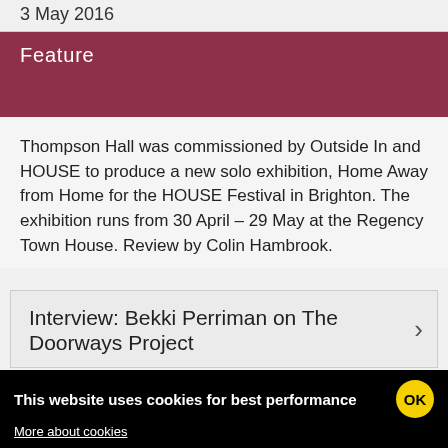3 May 2016
Feature
Thompson Hall was commissioned by Outside In and HOUSE to produce a new solo exhibition, Home Away from Home for the HOUSE Festival in Brighton. The exhibition runs from 30 April – 29 May at the Regency Town House. Review by Colin Hambrook.
Interview: Bekki Perriman on The Doorways Project
This website uses cookies for best performance  OK  More about cookies